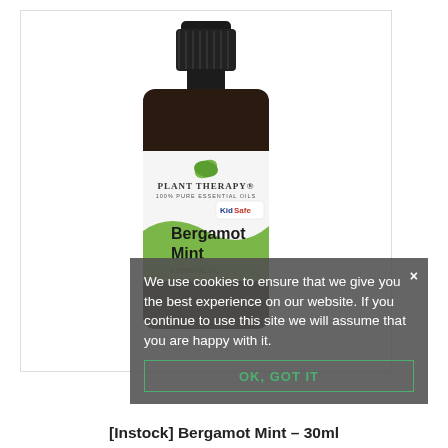[Figure (photo): A dark glass dropper bottle with a black cap labeled 'Plant Therapy 100% Pure Essential Oils KidSafe Bergamot Mint' essential oil, 30ml, with a green label and leaf logo.]
We use cookies to ensure that we give you the best experience on our website. If you continue to use this site we will assume that you are happy with it.
OK, GOT IT
[Instock] Bergamot Mint – 30ml